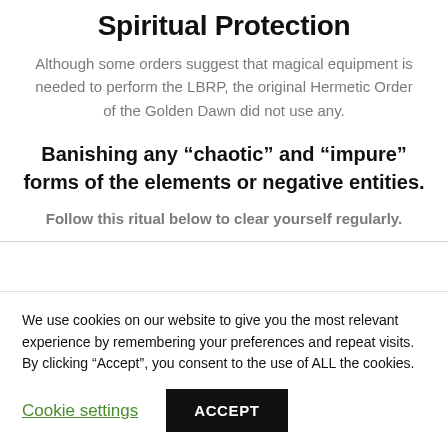Spiritual Protection
Although some orders suggest that magical equipment is needed to perform the LBRP, the original Hermetic Order of the Golden Dawn did not use any.
Banishing any “chaotic” and “impure” forms of the elements or negative entities.
Follow this ritual below to clear yourself regularly.
We use cookies on our website to give you the most relevant experience by remembering your preferences and repeat visits. By clicking “Accept”, you consent to the use of ALL the cookies.
Cookie settings | ACCEPT